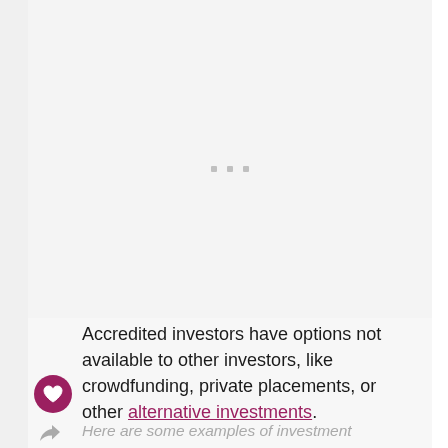[Figure (other): Large whitespace/image placeholder area with three small grey dots centered in the middle, representing a loading or placeholder image region]
Accredited investors have options not available to other investors, like crowdfunding, private placements, or other alternative investments.
Here are some examples of investment